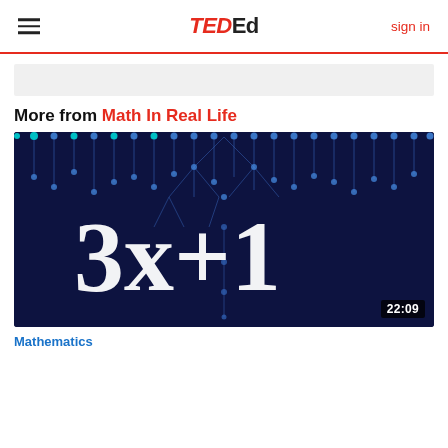TED Ed — sign in
More from Math In Real Life
[Figure (screenshot): Video thumbnail showing the 3x+1 Collatz conjecture visualization on a dark blue background with glowing node network, duration 22:09]
Mathematics